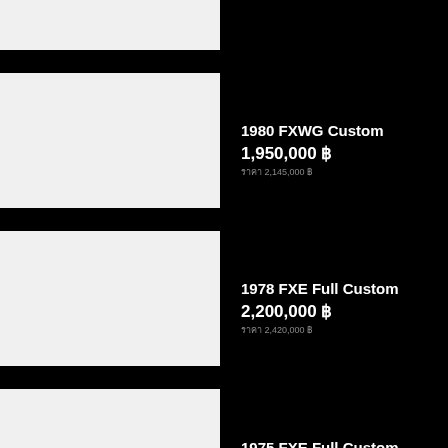[Figure (photo): Top partial image box - white/light gray placeholder]
1980 FXWG Custom
1,950,000 ฿
ราคา 2,145,000 ฿
[Figure (photo): Second image box - white/light gray placeholder]
1978 FXE Full Custom
2,200,000 ฿
ราคา 2,420,000 ฿
[Figure (photo): Third image box - white/light gray placeholder]
1975 FXE Full Custom
2,400,000 ฿